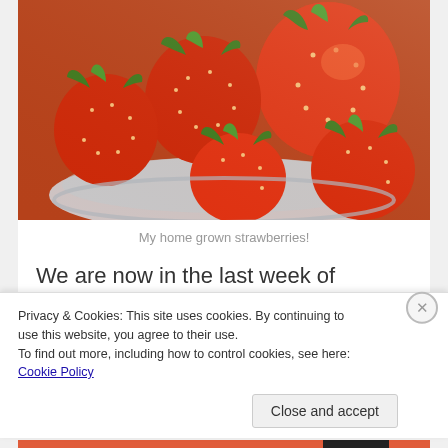[Figure (photo): Bowl of fresh red home-grown strawberries photographed from above, showing multiple ripe strawberries with green stems in a white bowl.]
My home grown strawberries!
We are now in the last week of August; they are still blooming and still providing sweet, pesticide free strawberries. I have had very little success with
Privacy & Cookies: This site uses cookies. By continuing to use this website, you agree to their use.
To find out more, including how to control cookies, see here: Cookie Policy